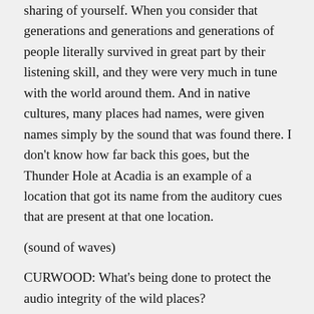sharing of yourself. When you consider that generations and generations and generations of people literally survived in great part by their listening skill, and they were very much in tune with the world around them. And in native cultures, many places had names, were given names simply by the sound that was found there. I don't know how far back this goes, but the Thunder Hole at Acadia is an example of a location that got its name from the auditory cues that are present at that one location.
(sound of waves)
CURWOOD: What's being done to protect the audio integrity of the wild places?
ACKER: Recently, very recently, a study was conducted by the National Park Service, at Holiokola National Park in Hawaii, Yosemite, and Grand Canyon. And what has